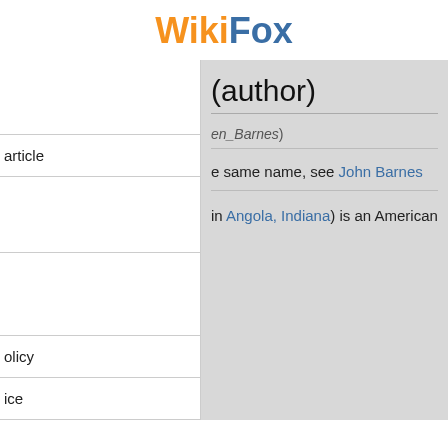WikiFox
(author)
en_Barnes)
e same name, see John Barnes
article
in Angola, Indiana) is an American
olicy
ice